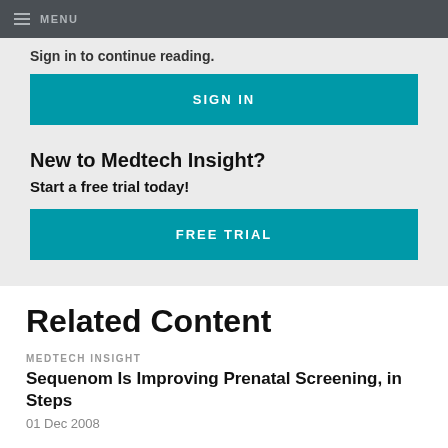MENU
Sign in to continue reading.
SIGN IN
New to Medtech Insight?
Start a free trial today!
FREE TRIAL
Related Content
MEDTECH INSIGHT
Sequenom Is Improving Prenatal Screening, in Steps
01 Dec 2008